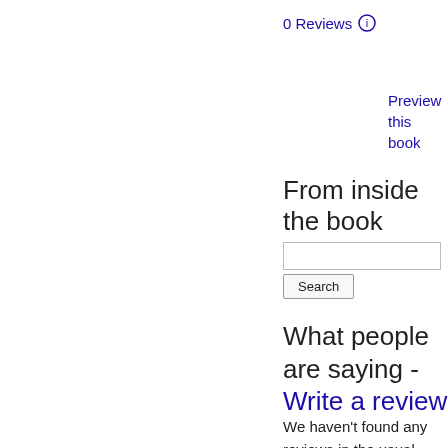0 Reviews ℹ
Preview this book
From inside the book
[Search input and Search button]
What people are saying - Write a review
We haven't found any reviews in the usual places.